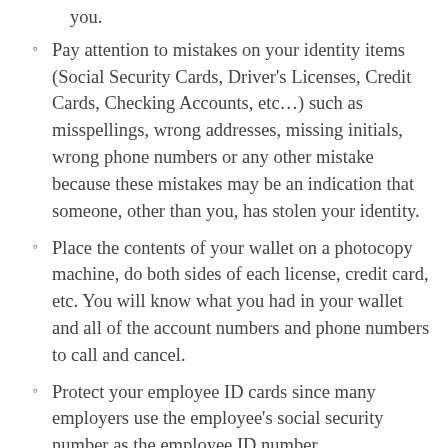you.
Pay attention to mistakes on your identity items (Social Security Cards, Driver's Licenses, Credit Cards, Checking Accounts, etc…) such as misspellings, wrong addresses, missing initials, wrong phone numbers or any other mistake because these mistakes may be an indication that someone, other than you, has stolen your identity.
Place the contents of your wallet on a photocopy machine, do both sides of each license, credit card, etc. You will know what you had in your wallet and all of the account numbers and phone numbers to call and cancel.
Protect your employee ID cards since many employers use the employee's social security number as the employee ID number.
Protect your paychecks and check stubs since many employers place the employee's social